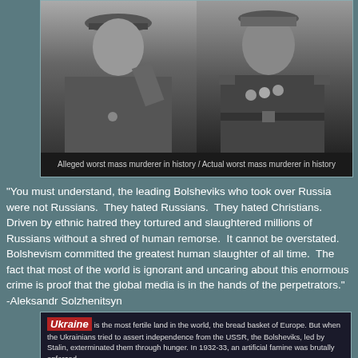[Figure (photo): Two black and white photographs side by side: left shows Hitler, right shows Stalin in military uniform]
Alleged worst mass murderer in history / Actual worst mass murderer in history
"You must understand, the leading Bolsheviks who took over Russia were not Russians. They hated Russians. They hated Christians. Driven by ethnic hatred they tortured and slaughtered millions of Russians without a shred of human remorse. It cannot be overstated. Bolshevism committed the greatest human slaughter of all time. The fact that most of the world is ignorant and uncaring about this enormous crime is proof that the global media is in the hands of the perpetrators." -Aleksandr Solzhenitsyn
Ukraine is the most fertile land in the world, the bread basket of Europe. But when the Ukrainians tried to assert independence from the USSR, the Bolsheviks, led by Stalin, exterminated them through hunger. In 1932-33, an artificial famine was brutally enforced.